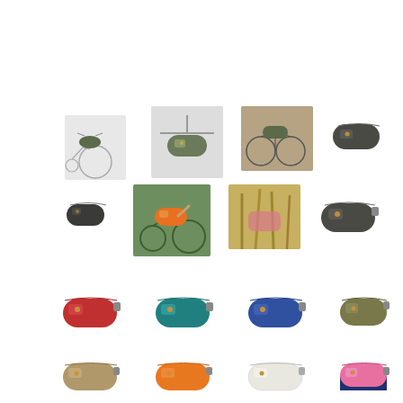[Figure (photo): Grid of product photos showing bicycle handlebar bags mounted on bikes and standalone bag color variants in red, teal, blue, olive, khaki, orange, white, and pink/navy]